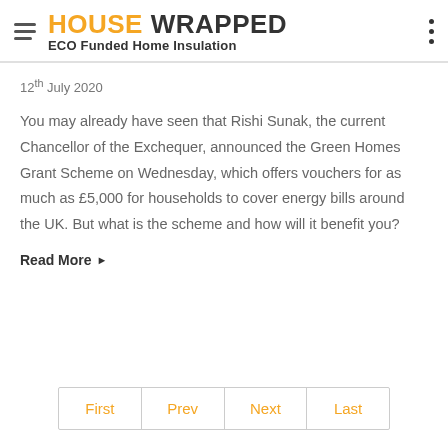HOUSE WRAPPED — ECO Funded Home Insulation
12th July 2020
You may already have seen that Rishi Sunak, the current Chancellor of the Exchequer, announced the Green Homes Grant Scheme on Wednesday, which offers vouchers for as much as £5,000 for households to cover energy bills around the UK. But what is the scheme and how will it benefit you?
Read More ▶